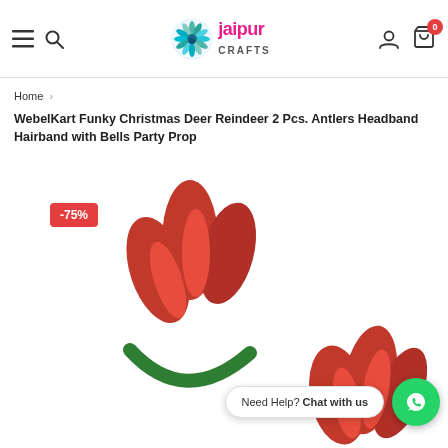Jaipur Crafts — navigation header with hamburger menu, search, logo, user icon, cart (0)
Home >
WebelKart Funky Christmas Deer Reindeer 2 Pcs. Antlers Headband Hairband with Bells Party Prop
[Figure (photo): Red reindeer antler headbands on a green hairband, showing two headbands. A -75% discount badge is overlaid in the top-left. A WhatsApp chat widget reads 'Need Help? Chat with us' in the bottom-right.]